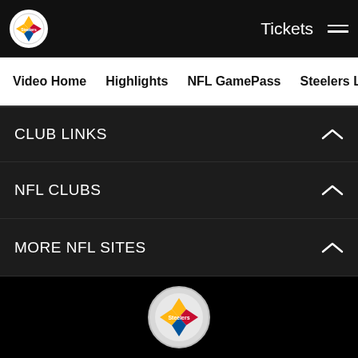Pittsburgh Steelers logo | Tickets | Menu
Video Home | Highlights | NFL GamePass | Steelers Live | The Sta
CLUB LINKS
NFL CLUBS
MORE NFL SITES
Download the Official App
[Figure (logo): Pittsburgh Steelers logo in footer]